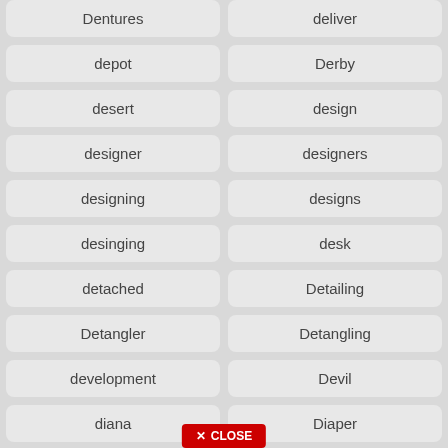Dentures
deliver
depot
Derby
desert
design
designer
designers
designing
designs
desinging
desk
detached
Detailing
Detangler
Detangling
development
Devil
diana
Diaper